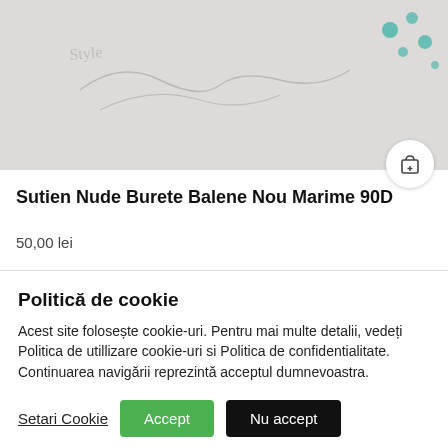[Figure (photo): Partial product image of a bra with teal/turquoise decorative elements on light background]
Sutien Nude Burete Balene Nou Marime 90D
50,00 lei
Politică de cookie
Acest site folosește cookie-uri. Pentru mai multe detalii, vedeți Politica de utillizare cookie-uri si Politica de confidentialitate. Continuarea navigării reprezintă acceptul dumnevoastra.
Setari Cookie  Accept  Nu accept